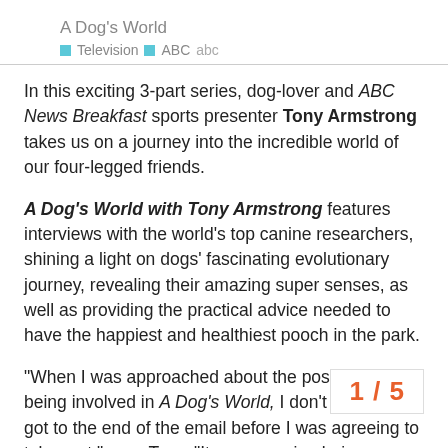A Dog's World
Television  ABC  abc
In this exciting 3-part series, dog-lover and ABC News Breakfast sports presenter Tony Armstrong takes us on a journey into the incredible world of our four-legged friends.
A Dog's World with Tony Armstrong features interviews with the world's top canine researchers, shining a light on dogs' fascinating evolutionary journey, revealing their amazing super senses, as well as providing the practical advice needed to have the happiest and healthiest pooch in the park.
“When I was approached about the possibility of being involved in A Dog’s World, I don’t even think I got to the end of the email before I was agreeing to take part,” says Tony. “It was amazing being involved in the project, I learned a lot and I hope everyone who watches enjoys it as much as we enjoyed making it!”
Through genetics, neuroscience, beha
1 / 5